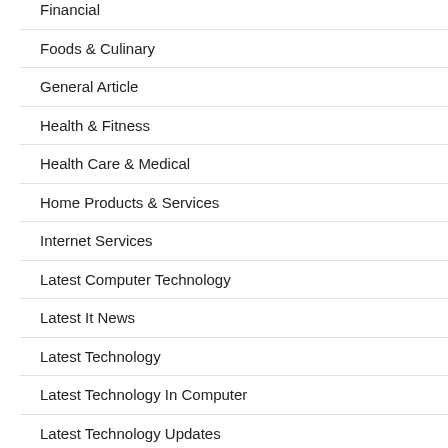Financial
Foods & Culinary
General Article
Health & Fitness
Health Care & Medical
Home Products & Services
Internet Services
Latest Computer Technology
Latest It News
Latest Technology
Latest Technology In Computer
Latest Technology Updates
New Technology
New Technology In Computer